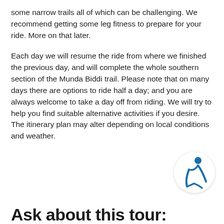some narrow trails all of which can be challenging. We recommend getting some leg fitness to prepare for your ride. More on that later.
Each day we will resume the ride from where we finished the previous day, and will complete the whole southern section of the Munda Biddi trail. Please note that on many days there are options to ride half a day; and you are always welcome to take a day off from riding. We will try to help you find suitable alternative activities if you desire. The itinerary plan may alter depending on local conditions and weather.
[Figure (logo): Circular white logo button with a blue stylized human figure icon]
Ask about this tour: